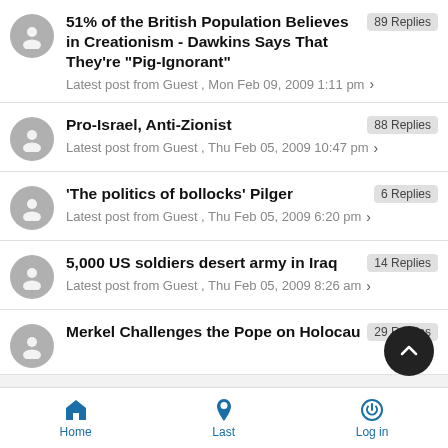51% of the British Population Believes in Creationism - Dawkins Says That They're "Pig-Ignorant" | 89 Replies | Latest post from Guest , Mon Feb 09, 2009 1:11 pm
Pro-Israel, Anti-Zionist | 88 Replies | Latest post from Guest , Thu Feb 05, 2009 10:47 pm
'The politics of bollocks'  Pilger | 6 Replies | Latest post from Guest , Thu Feb 05, 2009 6:20 pm
5,000 US soldiers desert army in Iraq | 14 Replies | Latest post from Guest , Thu Feb 05, 2009 8:26 am
Merkel Challenges the Pope on Holocaus… | 29 Replies
Home   Last   Log in